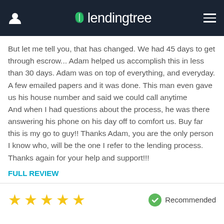lendingtree
But let me tell you, that has changed. We had 45 days to get through escrow... Adam helped us accomplish this in less than 30 days. Adam was on top of everything, and everyday. A few emailed papers and it was done. This man even gave us his house number and said we could call anytime
And when I had questions about the process, he was there answering his phone on his day off to comfort us. Buy far this is my go to guy!! Thanks Adam, you are the only person I know who, will be the one I refer to the lending process. Thanks again for your help and support!!!
FULL REVIEW
[Figure (other): Five gold star rating icons]
Recommended